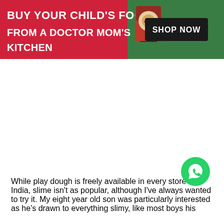[Figure (infographic): Promotional banner: red section with text 'BUY YOUR CHILD'S FOOD FROM A DOCTOR MOM'S KITCHEN', product bag image in center, green section on right with dark 'SHOP NOW' button.]
While play dough is freely available in every store in India, slime isn't as popular, although I've always wanted to try it. My eight year old son was particularly interested as he's drawn to everything slimy, like most boys his